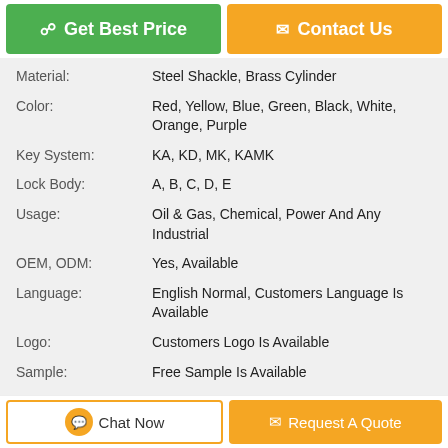| Property | Value |
| --- | --- |
| Material: | Steel Shackle, Brass Cylinder |
| Color: | Red, Yellow, Blue, Green, Black, White, Orange, Purple |
| Key System: | KA, KD, MK, KAMK |
| Lock Body: | A, B, C, D, E |
| Usage: | Oil & Gas, Chemical, Power And Any Industrial |
| OEM, ODM: | Yes, Available |
| Language: | English Normal, Customers Language Is Available |
| Logo: | Customers Logo Is Available |
| Sample: | Free Sample Is Available |
Painted Coating Body Length Safety Aluminum Safety Lockout Padlocks Product Details 1. Lock body designed by one-piece.Internatinal Standara die casting aluninum,high strength,stable paint coating surface,anti...
Tags: ball valve lockout , lock out hasps , lock out hasp
Product Description >